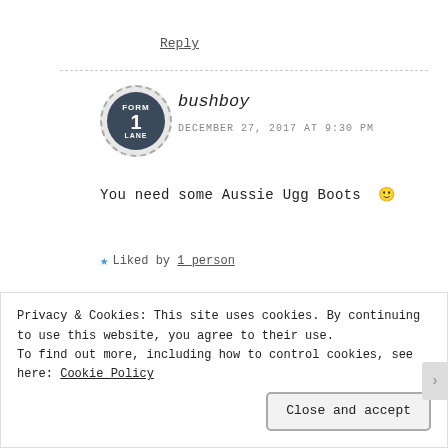Reply
[Figure (photo): Circular avatar with dashed border showing a dark blue sign with 'FORM 1 LANE' text]
bushboy
DECEMBER 27, 2017 AT 9:30 PM
You need some Aussie Ugg Boots 🙂
★ Liked by 1 person
Privacy & Cookies: This site uses cookies. By continuing to use this website, you agree to their use.
To find out more, including how to control cookies, see here: Cookie Policy
Close and accept